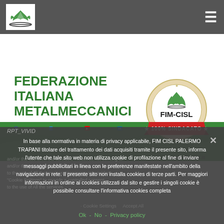[Figure (screenshot): Navigation bar with FIM-CISL logo on left and hamburger menu icon on right, dark grey background]
[Figure (logo): FIM-CISL website banner with text 'FEDERAZIONE ITALIANA METALMECCANICI' on the left and FIM-CISL '100% SINDACATO' circular badge on the right, with green wave graphic and www.fim-cisl.it URL]
RPT_VIVID
In base alla normativa in materia di privacy applicabile, FIM CISL PALERMO TRAPANI titolare del trattamento dei dati acquisiti tramite il presente sito, informa l'utente che tale sito web non utilizza cookie di profilazione al fine di inviare messaggi pubblicitari in linea con le preferenze manifestate nell'ambito della navigazione in rete. Il presente sito non installa cookies di terze parti. Per maggiori informazioni in ordine ai cookies utilizzati dal sito e gestire i singoli cookie è possibile consultare l'informativa cookies completa
Ok - No - Privacy policy